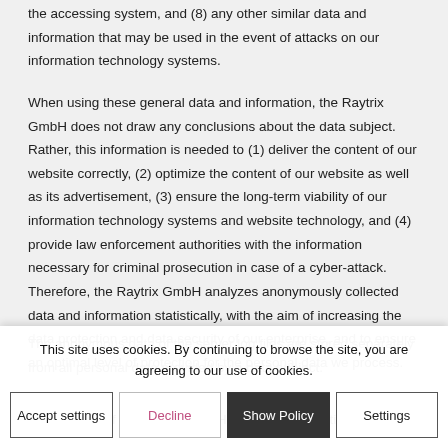the accessing system, and (8) any other similar data and information that may be used in the event of attacks on our information technology systems.
When using these general data and information, the Raytrix GmbH does not draw any conclusions about the data subject. Rather, this information is needed to (1) deliver the content of our website correctly, (2) optimize the content of our website as well as its advertisement, (3) ensure the long-term viability of our information technology systems and website technology, and (4) provide law enforcement authorities with the information necessary for criminal prosecution in case of a cyber-attack. Therefore, the Raytrix GmbH analyzes anonymously collected data and information statistically, with the aim of increasing the data protection and data security of our enterprise, and to ensure an optimal level of protection for the personal data we process.
The anonymous data of the server log files are stored separately from all personal data provided by a data subject.
The website of the Raytrix GmbH contains information that
This site uses cookies. By continuing to browse the site, you are agreeing to our use of cookies.